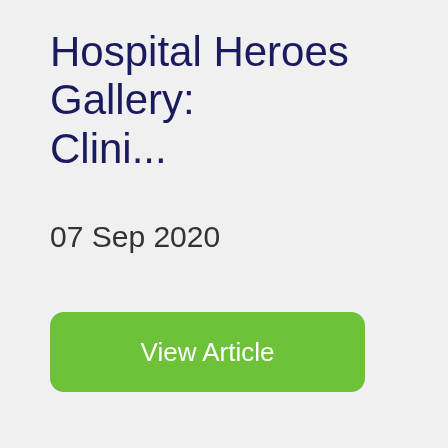Hospital Heroes Gallery: Clini...
07 Sep 2020
View Article